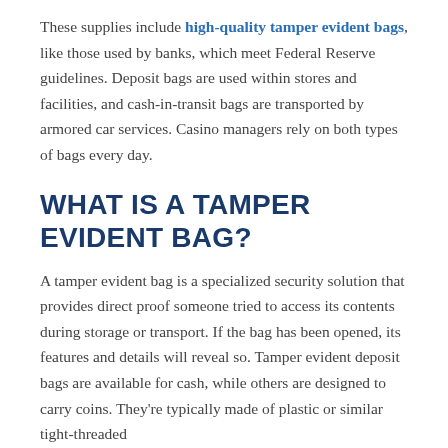These supplies include high-quality tamper evident bags, like those used by banks, which meet Federal Reserve guidelines. Deposit bags are used within stores and facilities, and cash-in-transit bags are transported by armored car services. Casino managers rely on both types of bags every day.
WHAT IS A TAMPER EVIDENT BAG?
A tamper evident bag is a specialized security solution that provides direct proof someone tried to access its contents during storage or transport. If the bag has been opened, its features and details will reveal so. Tamper evident deposit bags are available for cash, while others are designed to carry coins. They're typically made of plastic or similar tight-threaded...